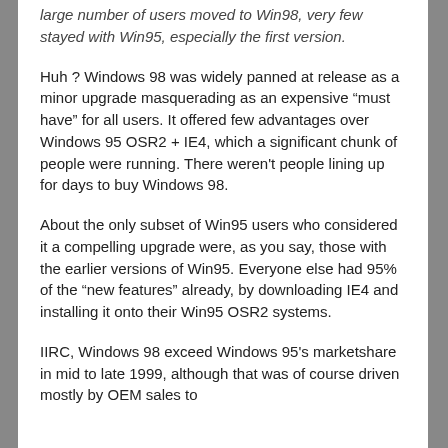large number of users moved to Win98, very few stayed with Win95, especially the first version.
Huh ? Windows 98 was widely panned at release as a minor upgrade masquerading as an expensive “must have” for all users. It offered few advantages over Windows 95 OSR2 + IE4, which a significant chunk of people were running. There weren't people lining up for days to buy Windows 98.
About the only subset of Win95 users who considered it a compelling upgrade were, as you say, those with the earlier versions of Win95. Everyone else had 95% of the “new features” already, by downloading IE4 and installing it onto their Win95 OSR2 systems.
IIRC, Windows 98 exceed Windows 95's marketshare in mid to late 1999, although that was of course driven mostly by OEM sales to U...